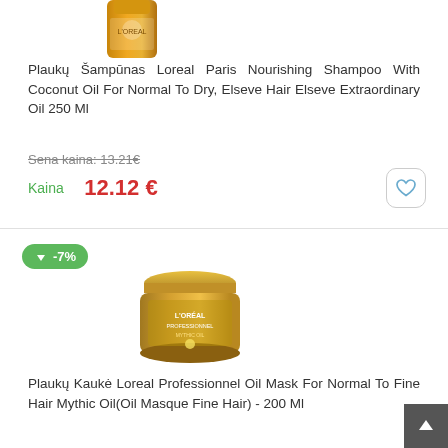[Figure (photo): Product image of Loreal Paris shampoo bottle (orange/gold) partially visible at top]
Plaukų Šampūnas Loreal Paris Nourishing Shampoo With Coconut Oil For Normal To Dry, Elseve Hair Elseve Extraordinary Oil 250 Ml
Sena kaina: 13.21€
Kaina 12.12 €
[Figure (photo): Product image of Loreal Professionnel gold jar of hair mask]
Plaukų Kaukė Loreal Professionnel Oil Mask For Normal To Fine Hair Mythic Oil(Oil Masque Fine Hair) - 200 Ml